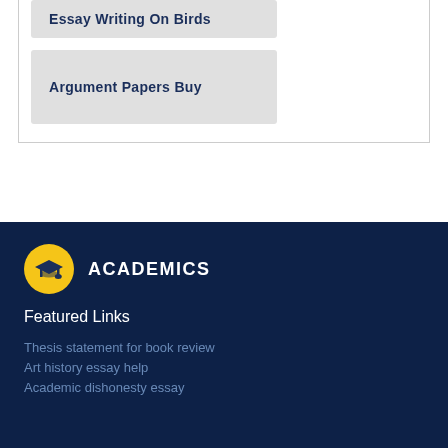Essay Writing On Birds
Argument Papers Buy
ACADEMICS
Featured Links
Thesis statement for book review
Art history essay help
Academic dishonesty essay